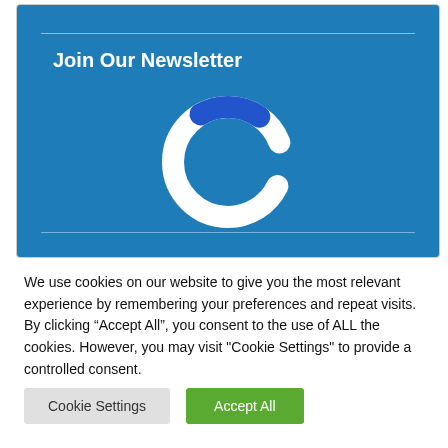[Figure (other): Newsletter signup box with blue background, title 'Join Our Newsletter', and a circular loading spinner graphic (white ring with blue arc segment at top-right)]
We use cookies on our website to give you the most relevant experience by remembering your preferences and repeat visits. By clicking “Accept All”, you consent to the use of ALL the cookies. However, you may visit "Cookie Settings" to provide a controlled consent.
Cookie Settings
Accept All